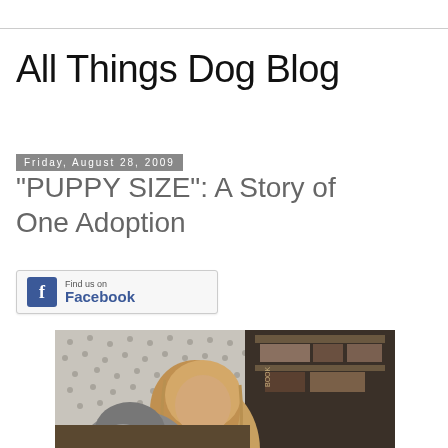All Things Dog Blog
Friday, August 28, 2009
"PUPPY SIZE": A Story of One Adoption
[Figure (logo): Find us on Facebook button with blue Facebook icon on the left and text 'Find us on Facebook' on the right]
[Figure (photo): A young girl with blonde hair holding or near a dog, photographed indoors with a polka-dot wall in the background and dark shelves/books visible on the right side]